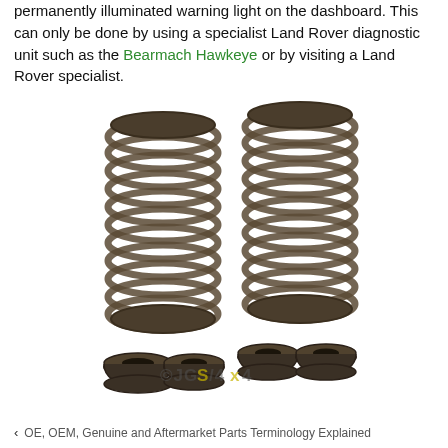permanently illuminated warning light on the dashboard. This can only be done by using a specialist Land Rover diagnostic unit such as the Bearmach Hawkeye or by visiting a Land Rover specialist.
[Figure (photo): Two coil valve springs with associated spring retainer caps/collars, photographed on white background. Watermark reads ©JGS4x4. Parts appear dark bronze/brown in color.]
OE, OEM, Genuine and Aftermarket Parts Terminology Explained